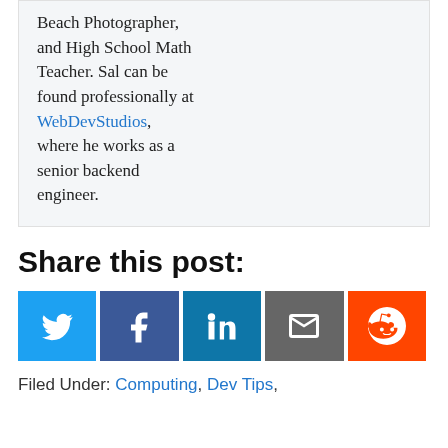Beach Photographer, and High School Math Teacher. Sal can be found professionally at WebDevStudios, where he works as a senior backend engineer.
Share this post:
[Figure (other): Row of five social share buttons: Twitter (blue), Facebook (dark blue), LinkedIn (blue), Email (grey), Reddit (orange)]
Filed Under: Computing, Dev Tips,